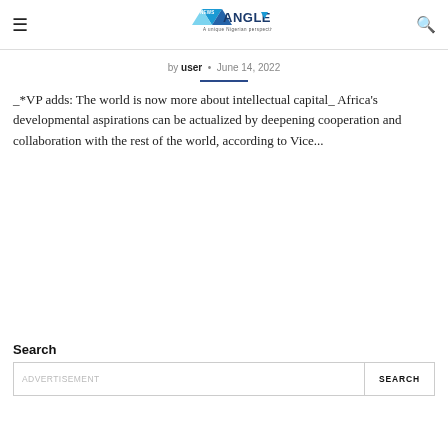News Angle Nigeria
by user • June 14, 2022
_*VP adds: The world is now more about intellectual capital_ Africa's developmental aspirations can be actualized by deepening cooperation and collaboration with the rest of the world, according to Vice...
Search
ADVERTISEMENT SEARCH